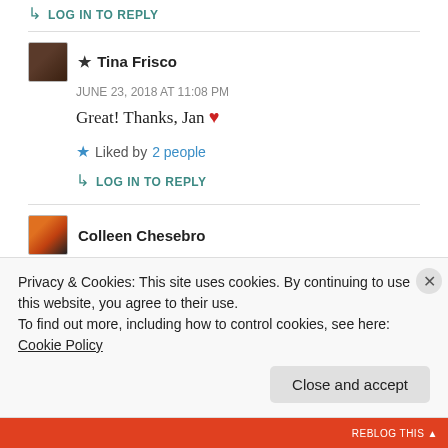↳ LOG IN TO REPLY
★ Tina Frisco
JUNE 23, 2018 AT 11:08 PM
Great! Thanks, Jan ❤
★ Liked by 2 people
↳ LOG IN TO REPLY
Colleen Chesebro
Privacy & Cookies: This site uses cookies. By continuing to use this website, you agree to their use.
To find out more, including how to control cookies, see here: Cookie Policy
Close and accept